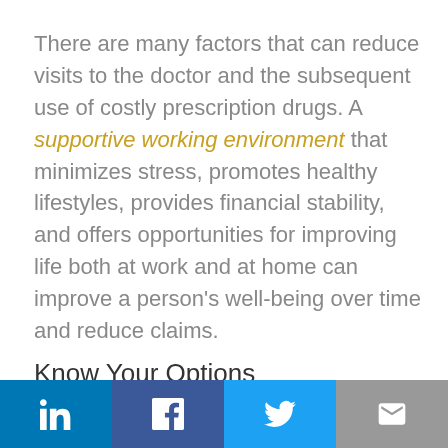There are many factors that can reduce visits to the doctor and the subsequent use of costly prescription drugs. A supportive working environment that minimizes stress, promotes healthy lifestyles, provides financial stability, and offers opportunities for improving life both at work and at home can improve a person's well-being over time and reduce claims.
Know Your Options
[Figure (other): Social media share bar with LinkedIn, Facebook, Twitter, and email icons]